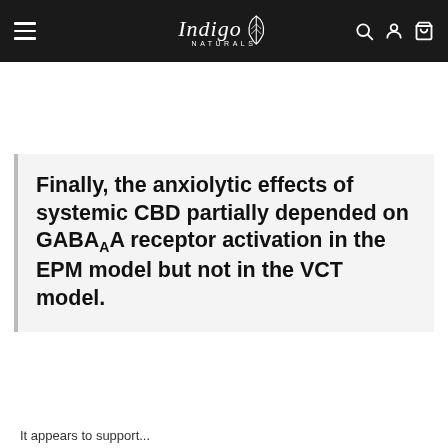Indigo Naturals — navigation bar with logo, hamburger menu, search, account, and cart icons
Finally, the anxiolytic effects of systemic CBD partially depended on GABAA receptor activation in the EPM model but not in the VCT model.
It appears to support...